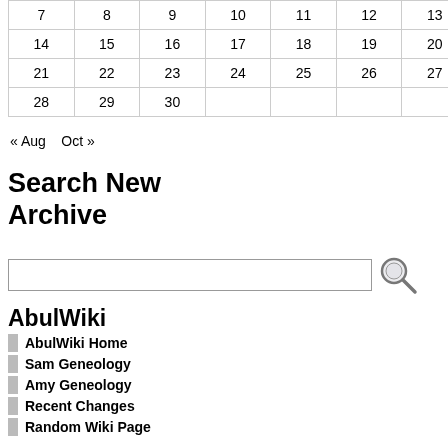| 7 | 8 | 9 | 10 | 11 | 12 | 13 |
| 14 | 15 | 16 | 17 | 18 | 19 | 20 |
| 21 | 22 | 23 | 24 | 25 | 26 | 27 |
| 28 | 29 | 30 |  |  |  |  |
« Aug   Oct »
Search New Archive
[Figure (map): US western states map showing electoral college predictions with states colored red (Republican), blue (Democrat), or light beige (toss-up)]
AbulWiki
AbulWiki Home
Sam Geneology
Amy Geneology
Recent Changes
Random Wiki Page
Other Stuff
Resume
Email Contest
Abulsme Function
Old Pictures
The Person